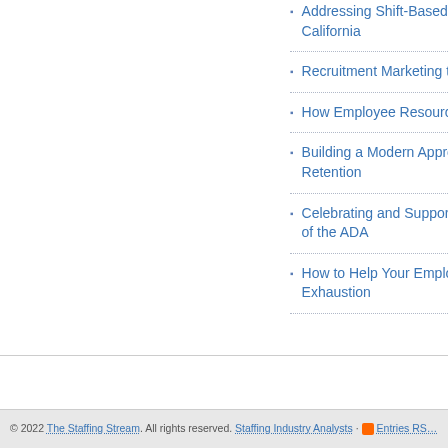Addressing Shift-Based Wor… California
Recruitment Marketing to Me…
How Employee Resource Gr…
Building a Modern Approach… Retention
Celebrating and Supporting D… of the ADA
How to Help Your Employees… Exhaustion
© 2022 The Staffing Stream. All rights reserved. Staffing Industry Analysts · Entries RS…